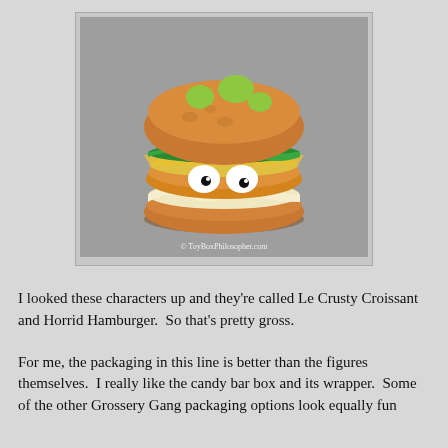[Figure (photo): A toy figure of a hamburger character with googly eyes, orange/yellow bun layers and green lettuce, cream-colored filling, with green spots on top. Watermark reads © ToyBoxPhilosopher.com]
I looked these characters up and they're called Le Crusty Croissant and Horrid Hamburger.  So that's pretty gross.
For me, the packaging in this line is better than the figures themselves.  I really like the candy bar box and its wrapper.  Some of the other Grossery Gang packaging options look equally fun